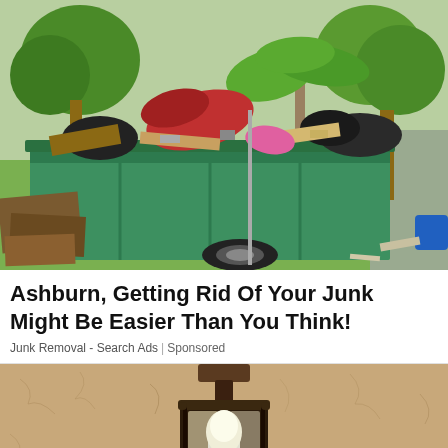[Figure (photo): Outdoor photo of an overflowing green dumpster/skip container filled with junk, debris, furniture pieces, and garbage bags, set on a grass area with palm trees in the background.]
Ashburn, Getting Rid Of Your Junk Might Be Easier Than You Think!
Junk Removal - Search Ads | Sponsored
[Figure (photo): Photo of a vintage outdoor wall lantern light fixture with a white bulb, mounted on a textured stucco wall.]